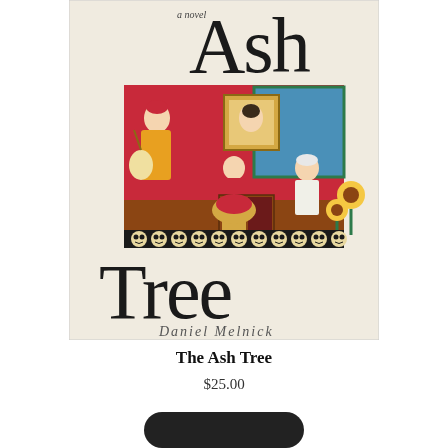[Figure (illustration): Book cover for 'The Ash Tree' by Daniel Melnick. Cream/off-white background. Large stylized serif text 'Ash Tree' with 'a novel' in small text at top. Colorful folk-art style illustration in center showing figures in a room with rugs, playing backgammon, a lute player, sunflowers, and a row of decorative owl-like faces at the bottom border. Author name 'Daniel Melnick' in italic serif font near bottom of cover.]
The Ash Tree
$25.00